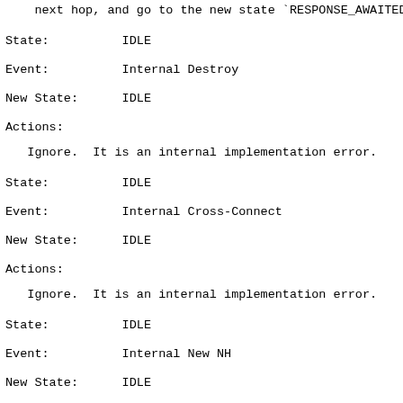next hop, and go to the new state `RESPONSE_AWAITED
State:          IDLE
Event:          Internal Destroy
New State:      IDLE
Actions:
Ignore.  It is an internal implementation error.
State:          IDLE
Event:          Internal Cross-Connect
New State:      IDLE
Actions:
Ignore.  It is an internal implementation error.
State:          IDLE
Event:          Internal New NH
New State:      IDLE